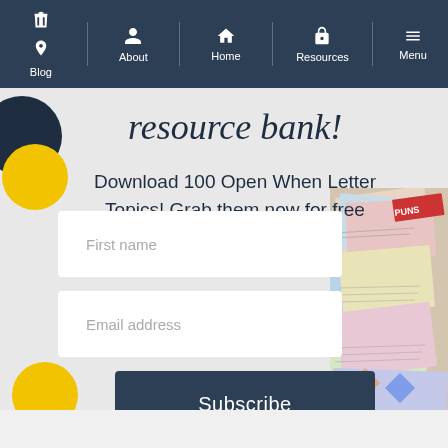Blog | About | Home | Resources | Menu
resource bank!
Download 100 Open When Letter Topics! Grab them now for free
[Figure (photo): Collage of colorful letters and envelopes on the right side of the page]
First name
Email address
Subscribe